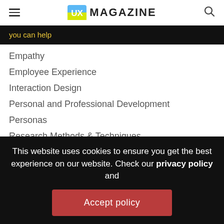UX MAGAZINE
you can help
Empathy
Employee Experience
Interaction Design
Personal and Professional Development
Personas
Research Methods & Techniques
Strategy
Usability
This website uses cookies to ensure you get the best experience on our website. Check our privacy policy and
Accept policy